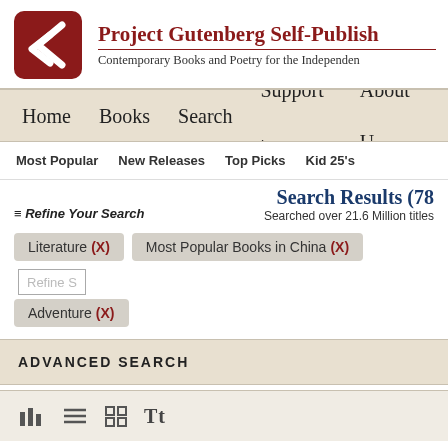Project Gutenberg Self-Publishing Press — Contemporary Books and Poetry for the Independent Author
Home   Books   Search   Support >   About U
Most Popular   New Releases   Top Picks   Kid 25's
Search Results (78
Searched over 21.6 Million titles
≔ Refine Your Search
Literature (X)
Most Popular Books in China (X)
Adventure (X)
Refine S
ADVANCED SEARCH
view icons: bar chart, list, grid, text size